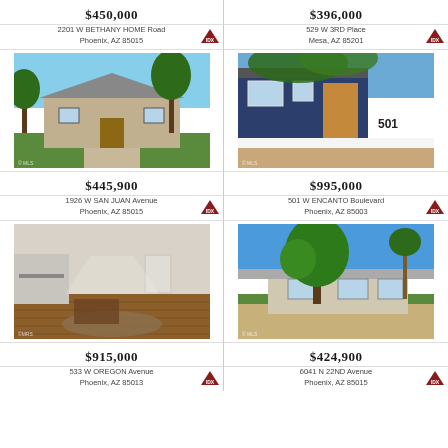$450,000
2201 W BETHANY HOME Road
Phoenix, AZ 85015
[Figure (photo): Exterior photo of ranch-style home with green trees and lawn, Phoenix AZ]
$445,900
1926 W SAN JUAN Avenue
Phoenix, AZ 85015
$396,000
529 W 3RD Place
Mesa, AZ 85201
[Figure (photo): Exterior photo of blue modern home with white wall and address 501, Phoenix AZ]
$995,000
501 W ENCANTO Boulevard
Phoenix, AZ 85003
[Figure (photo): Interior photo of open living area with wood floors and skylight]
$915,000
533 W OREGON Avenue
Phoenix, AZ 85013
[Figure (photo): Exterior photo of mid-century home with large green tree in front yard]
$424,900
6041 N 22ND Avenue
Phoenix, AZ 85015